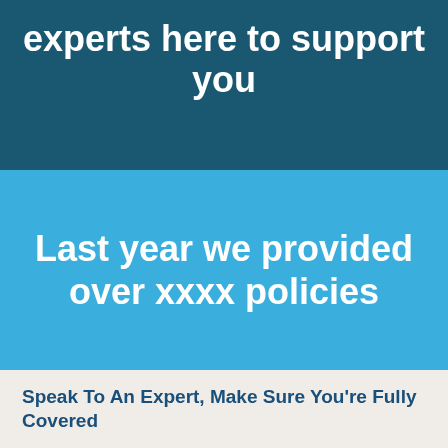experts here to support you
Last year we provided over xxxx policies
Speak To An Expert, Make Sure You're Fully Covered